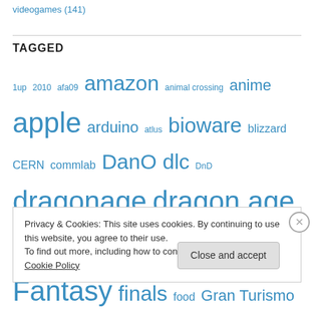videogames (141)
TAGGED
1up 2010 afa09 amazon animal crossing anime apple arduino atlus bioware blizzard CERN commlab DanO dlc DnD dragonage dragon age E3 ffxi FFXIII FFXIV Final Fantasy finals food Gran Turismo guitar hero
Privacy & Cookies: This site uses cookies. By continuing to use this website, you agree to their use.
To find out more, including how to control cookies, see here: Cookie Policy
Close and accept